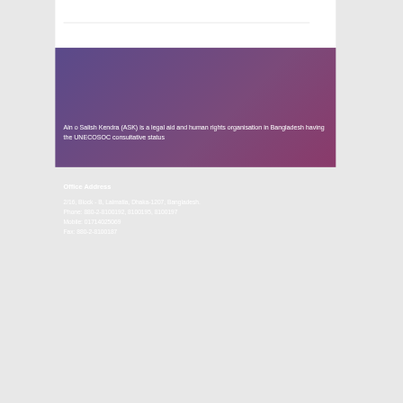Ain o Salish Kendra (ASK) is a legal aid and human rights organisation in Bangladesh having the UNECOSOC consultative status
Office Address
2/16, Block - B, Lalmatia, Dhaka-1207, Bangladesh.
Phone: 880-2-8100192, 8100195, 8100197
Mobile: 01714025069
Fax: 880-2-8100187